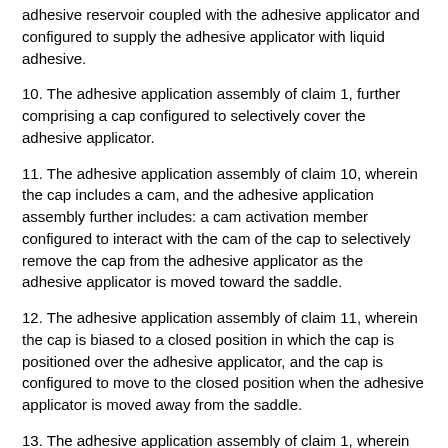adhesive reservoir coupled with the adhesive applicator and configured to supply the adhesive applicator with liquid adhesive.
10. The adhesive application assembly of claim 1, further comprising a cap configured to selectively cover the adhesive applicator.
11. The adhesive application assembly of claim 10, wherein the cap includes a cam, and the adhesive application assembly further includes: a cam activation member configured to interact with the cam of the cap to selectively remove the cap from the adhesive applicator as the adhesive applicator is moved toward the saddle.
12. The adhesive application assembly of claim 11, wherein the cap is biased to a closed position in which the cap is positioned over the adhesive applicator, and the cap is configured to move to the closed position when the adhesive applicator is moved away from the saddle.
13. The adhesive application assembly of claim 1, wherein the rotating arm is biased to a neutral position in which the adhesive applicator is spaced from the saddle.
14. A book binding station configured to bind a plurality of sheets into a bound document, the book binding station comprising: a saddle configured